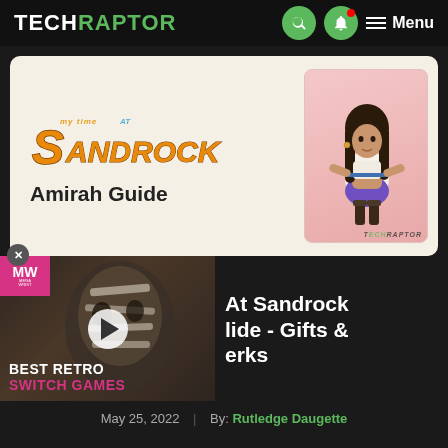TechRaptor — Menu
[Figure (screenshot): My Time At Sandrock game logo with stylized text and Amirah Guide title text on a cream background]
[Figure (illustration): Character illustration of Amirah from My Time At Sandrock on a pink/salmon background, TechRaptor watermark]
[Figure (screenshot): Video thumbnail with MW badge, play button, creature/masked character, Best Retro Switch Games label]
My Time At Sandrock Amirah Guide - Gifts & Perks
May 25, 2022 | By: Rutledge Daugette